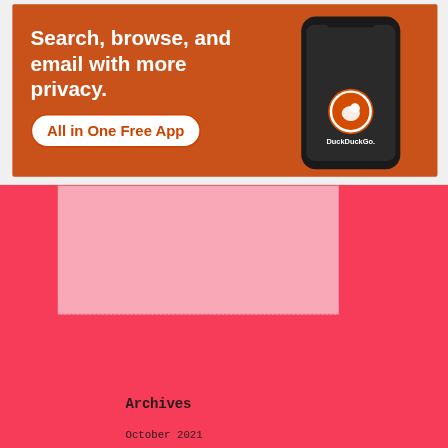Spam Blocked
522,741 spam blocked by Akismet
Archives
October 2021
Advertisements
[Figure (illustration): DuckDuckGo advertisement banner: 'Search, browse, and email with more privacy. All in One Free App' with a phone showing the DuckDuckGo logo on an orange background.]